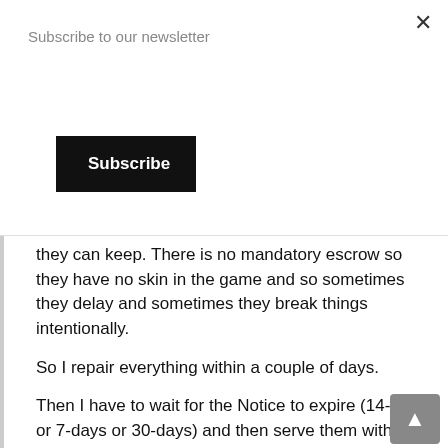Subscribe to our newsletter
Subscribe
they can keep. There is no mandatory escrow so they have no skin in the game and so sometimes they delay and sometimes they break things intentionally.
So I repair everything within a couple of days.
Then I have to wait for the Notice to expire (14-day, or 7-days or 30-days) and then serve them with the Summary Process. I file it 4 days later and then it takes about 2 weeks to see the judge. That is unless they file a Discovery request which adds another 2 weeks and a file an Answer which adds another week